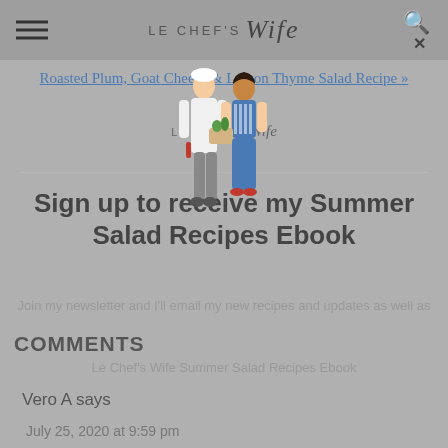LE CHEF'S Wife
Roasted Plum, Goat Cheese & Lemon Thyme Salad Recipe »
[Figure (illustration): Illustration of a chef and his wife standing together with groceries, overlaid on navigation area]
Sign up to receive my Summer Salad Recipes Ebook
Join my newsletter and I'll email my new recipes and updates as well as
Le Chef's Wife Summer Salad Recipes Ebook
COMMENTS
Vero A says
July 25, 2020 at 9:59 pm